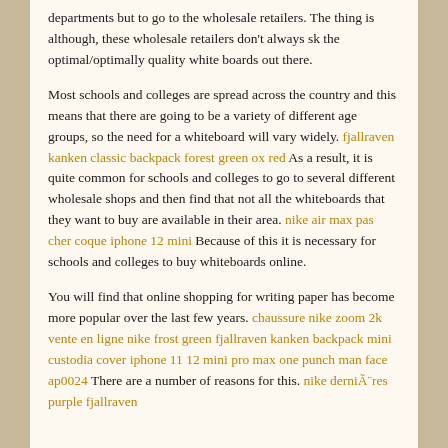departments but to go to the wholesale retailers. The thing is although, these wholesale retailers don't always sk the optimal/optimally quality white boards out there.
Most schools and colleges are spread across the country and this means that there are going to be a variety of different age groups, so the need for a whiteboard will vary widely. fjallraven kanken classic backpack forest green ox red As a result, it is quite common for schools and colleges to go to several different wholesale shops and then find that not all the whiteboards that they want to buy are available in their area. nike air max pas cher coque iphone 12 mini Because of this it is necessary for schools and colleges to buy whiteboards online.
You will find that online shopping for writing paper has become more popular over the last few years. chaussure nike zoom 2k vente en ligne nike frost green fjallraven kanken backpack mini custodia cover iphone 11 12 mini pro max one punch man face ap0024 There are a number of reasons for this. nike dernières purple fjallraven